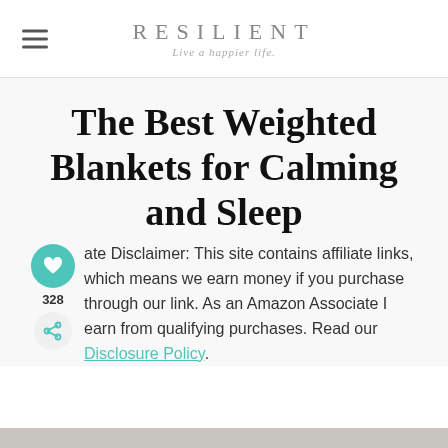RESILIENT — Live a happier life.
The Best Weighted Blankets for Calming and Sleep
ate Disclaimer: This site contains affiliate links, which means we earn money if you purchase through our link. As an Amazon Associate I earn from qualifying purchases. Read our Disclosure Policy.